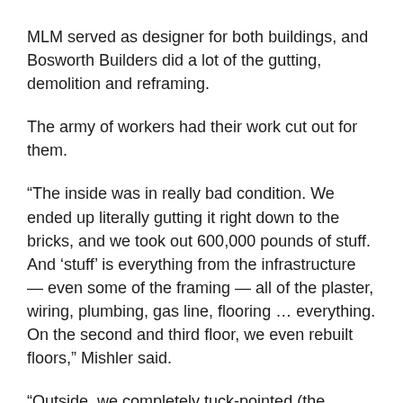MLM served as designer for both buildings, and Bosworth Builders did a lot of the gutting, demolition and reframing.
The army of workers had their work cut out for them.
“The inside was in really bad condition. We ended up literally gutting it right down to the bricks, and we took out 600,000 pounds of stuff. And ‘stuff’ is everything from the infrastructure — even some of the framing — all of the plaster, wiring, plumbing, gas line, flooring … everything. On the second and third floor, we even rebuilt floors,” Mishler said.
“Outside, we completely tuck-pointed (the bricks); the mortar was so bad in some places you could see from the inside out. (We put a) new roof on the building, all new windows — a lot of arched windows — and painted.”